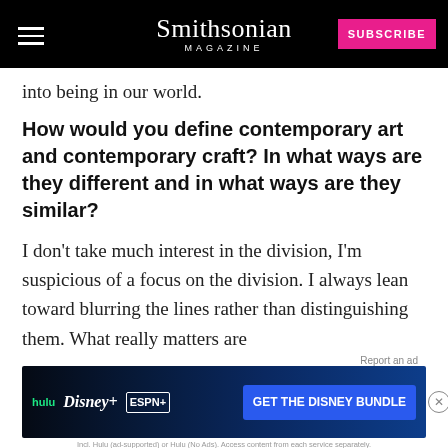Smithsonian Magazine — SUBSCRIBE
into being in our world.
How would you define contemporary art and contemporary craft? In what ways are they different and in what ways are they similar?
I don't take much interest in the division, I'm suspicious of a focus on the division. I always lean toward blurring the lines rather than distinguishing them. What really matters are the people interested in exploring… only interested in what people call themselves, I don't
[Figure (screenshot): Disney Bundle advertisement banner: Hulu, Disney+, ESPN+ logos with 'GET THE DISNEY BUNDLE' call to action button. Fine print: Incl. Hulu (ad-supported) or Hulu (No Ads). Access content from each service separately. ©2021 Disney and its related entities]